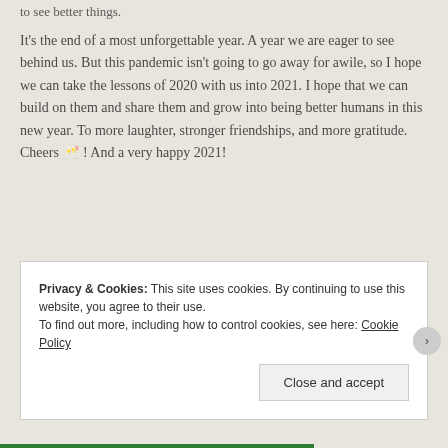to see better things.
It's the end of a most unforgettable year. A year we are eager to see behind us. But this pandemic isn't going to go away for awile, so I hope we can take the lessons of 2020 with us into 2021. I hope that we can build on them and share them and grow into being better humans in this new year. To more laughter, stronger friendships, and more gratitude. Cheers 🥂 ! And a very happy 2021!
Privacy & Cookies: This site uses cookies. By continuing to use this website, you agree to their use. To find out more, including how to control cookies, see here: Cookie Policy
Close and accept